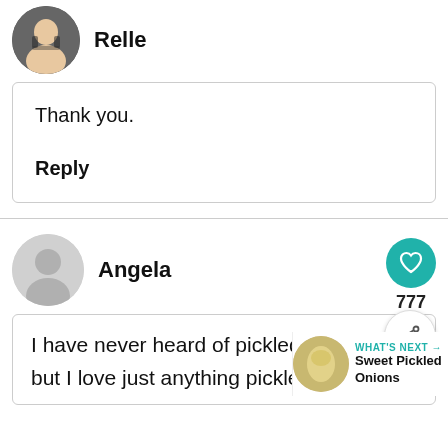[Figure (photo): Circular avatar photo of user Relle]
Relle
Thank you.
Reply
[Figure (illustration): Circular default avatar placeholder for user Angela]
Angela
[Figure (illustration): Teal heart/like floating action button]
777
[Figure (illustration): Share floating action button]
I have never heard of pickled m but I love just anything pickled. Ins is
WHAT'S NEXT → Sweet Pickled Onions